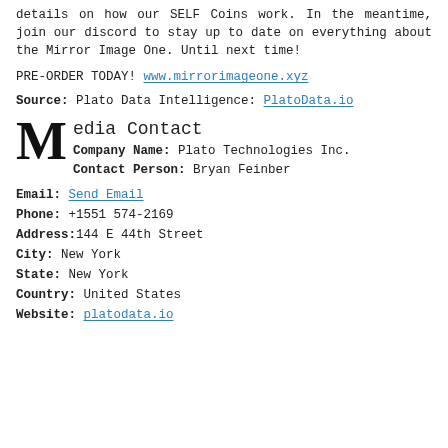details on how our SELF Coins work. In the meantime, join our discord to stay up to date on everything about the Mirror Image One. Until next time!
PRE-ORDER TODAY! www.mirrorimageone.xyz
Source: Plato Data Intelligence: PlatoData.io
Media Contact
Company Name: Plato Technologies Inc.
Contact Person: Bryan Feinber
Email: Send Email
Phone: +1551 574-2169
Address: 144 E 44th Street
City: New York
State: New York
Country: United States
Website: platodata.io